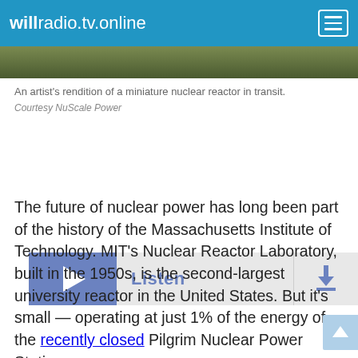willradio.tv.online
[Figure (photo): Partial photo strip showing foliage/landscape — artist's rendition of a miniature nuclear reactor in transit]
An artist's rendition of a miniature nuclear reactor in transit.
Courtesy NuScale Power
[Figure (other): Audio player widget with play button and download button, labeled Listen]
The future of nuclear power has long been part of the history of the Massachusetts Institute of Technology. MIT's Nuclear Reactor Laboratory, built in the 1950s, is the second-largest university reactor in the United States. But it's small — operating at just 1% of the energy of the recently closed Pilgrim Nuclear Power Station.